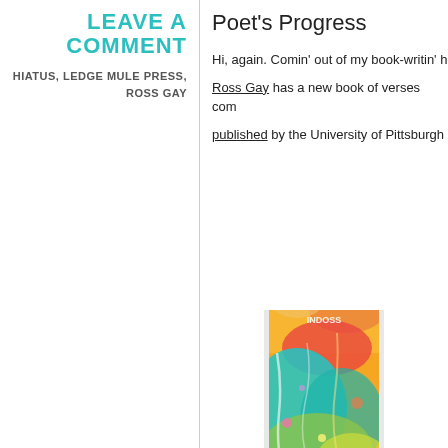LEAVE A COMMENT
HIATUS, LEDGE MULE PRESS, ROSS GAY
Poet's Progress
Hi, again. Comin' out of my book-writin' h
Ross Gay has a new book of verses com
published by the University of Pittsburgh
[Figure (photo): Colorful abstract book cover with vibrant paint-like imagery featuring blues, oranges, reds, yellows and greens with expressive brushwork, partially cropped]